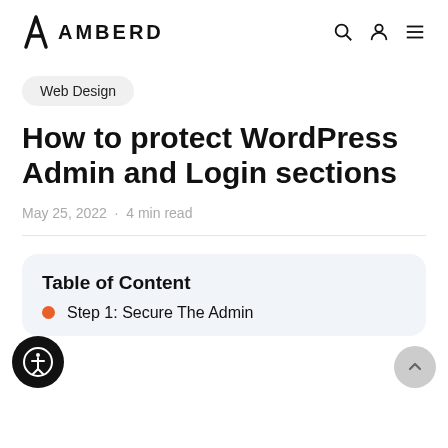AMBERD
Web Design
How to protect WordPress Admin and Login sections
May 25, 2022 · 4 min read
Table of Content
Step 1: Secure The Admin